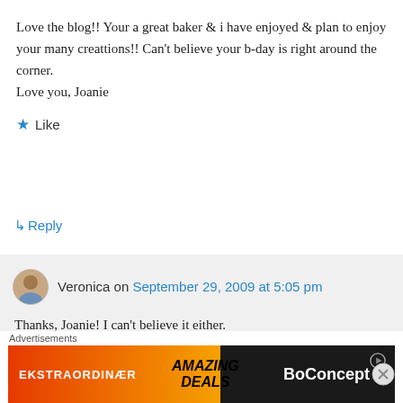Love the blog!! Your a great baker & i have enjoyed & plan to enjoy your many creattions!! Can't believe your b-day is right around the corner.
Love you, Joanie
★ Like
↳ Reply
Veronica on September 29, 2009 at 5:05 pm
Thanks, Joanie! I can't believe it either. Dennis is going to make me a coconut
Advertisements
[Figure (other): BoConcept advertisement banner: EKSTRAORDINÆR - AMAZING DEALS - BoConcept]